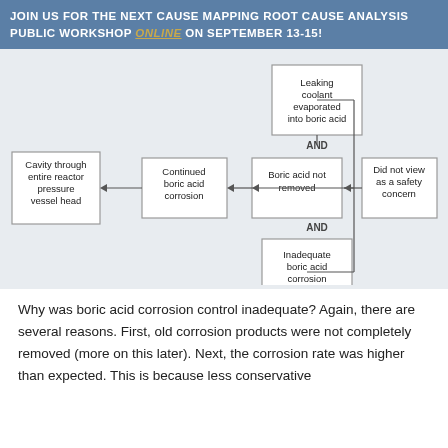JOIN US FOR THE NEXT CAUSE MAPPING ROOT CAUSE ANALYSIS PUBLIC WORKSHOP ONLINE ON SEPTEMBER 13-15!
[Figure (flowchart): Root cause analysis flowchart showing: Leaking coolant evaporated into boric acid (AND) Did not view as a safety concern → Boric acid not removed → Continued boric acid corrosion → Cavity through entire reactor pressure vessel head; AND below: Inadequate boric acid corrosion control → Boric acid not removed]
Why was boric acid corrosion control inadequate? Again, there are several reasons. First, old corrosion products were not completely removed (more on this later). Next, the corrosion rate was higher than expected. This is because less conservative